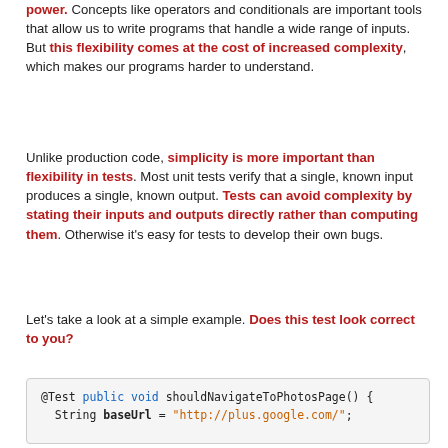power. Concepts like operators and conditionals are important tools that allow us to write programs that handle a wide range of inputs. But this flexibility comes at the cost of increased complexity, which makes our programs harder to understand.
Unlike production code, simplicity is more important than flexibility in tests. Most unit tests verify that a single, known input produces a single, known output. Tests can avoid complexity by stating their inputs and outputs directly rather than computing them. Otherwise it's easy for tests to develop their own bugs.
Let's take a look at a simple example. Does this test look correct to you?
[Figure (screenshot): Code block showing Java test method: @Test public void shouldNavigateToPhotosPage() { String baseUrl = "http://plus.google.com/";]